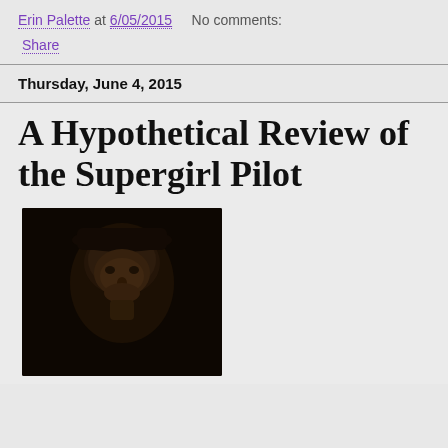Erin Palette at 6/05/2015    No comments:
Share
Thursday, June 4, 2015
A Hypothetical Review of the Supergirl Pilot
[Figure (photo): Dark photo of a man wearing a hat, dim lighting, mostly dark tones]